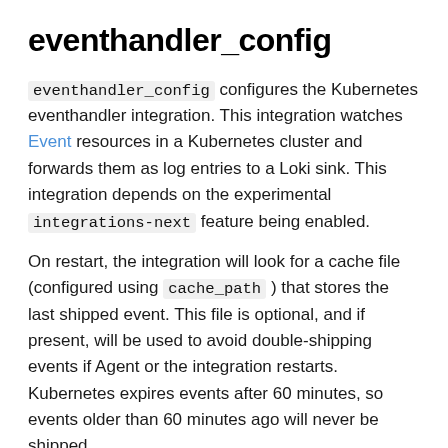eventhandler_config
eventhandler_config configures the Kubernetes eventhandler integration. This integration watches Event resources in a Kubernetes cluster and forwards them as log entries to a Loki sink. This integration depends on the experimental integrations-next feature being enabled.
On restart, the integration will look for a cache file (configured using cache_path ) that stores the last shipped event. This file is optional, and if present, will be used to avoid double-shipping events if Agent or the integration restarts. Kubernetes expires events after 60 minutes, so events older than 60 minutes ago will never be shipped.
To use the cache feature and maintain state in a